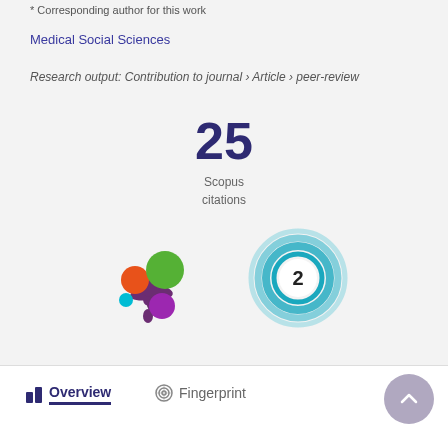* Corresponding author for this work
Medical Social Sciences
Research output: Contribution to journal › Article › peer-review
25
Scopus
citations
[Figure (logo): Altmetric multi-colored splash badge logo]
[Figure (other): Dimensions badge showing number 2 in teal concentric circles]
Overview
Fingerprint